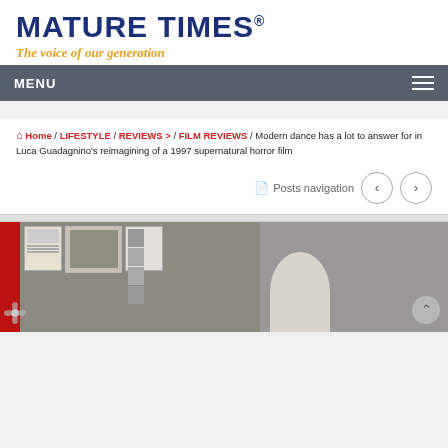MATURE TIMES®
The voice of our generation
MENU
🏠 Home / LIFESTYLE / REVIEWS > / FILM REVIEWS / Modern dance has a lot to answer for in Luca Guadagnino's reimagining of a 1997 supernatural horror film
Posts navigation
[Figure (photo): A still image from a film or exhibition showing documents/photographs pinned to a wall, with a red bar on the left side, a flower emblem, and a person with white/grey hair visible on the right side.]